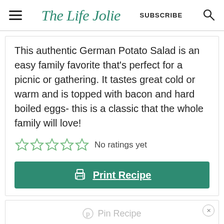The Life Jolie | SUBSCRIBE
This authentic German Potato Salad is an easy family favorite that's perfect for a picnic or gathering. It tastes great cold or warm and is topped with bacon and hard boiled eggs- this is a classic that the whole family will love!
No ratings yet
Print Recipe
Pin Recipe